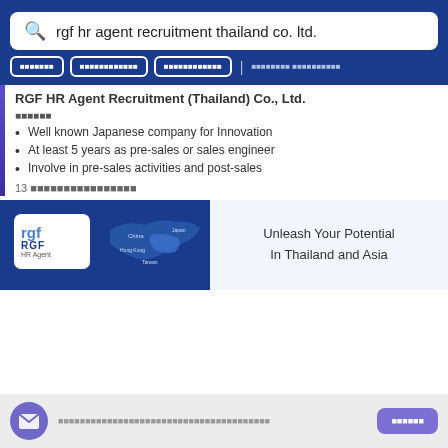rgf hr agent recruitment thailand co. ltd.
ผลการค้นหา
ผลลัพธ์ทั้งหมด
ผลลัพธ์ที่เกี่ยวข้อง
เพิ่มเติม เกี่ยวกับ
RGF HR Agent Recruitment (Thailand) Co., Ltd.
รายละเอียด
Well known Japanese company for Innovation
At least 5 years as pre-sales or sales engineer
Involve in pre-sales activities and post-sales
13 วันที่ผ่านมา
[Figure (logo): RGF HR Agent banner with map of Asia and tagline 'Unleash Your Potential In Thailand and Asia']
ส่งอีเมลลิงก์ไปยังสมาชิกในทีมของคุณทั้งหมด   ลงทะเบียน